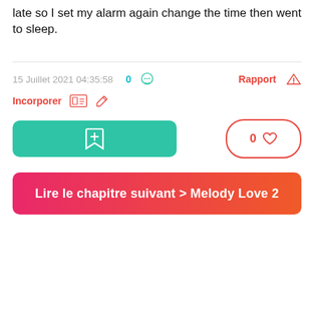late so I set my alarm again change the time then went to sleep.
15 Juillet 2021 04:35:58   0   Rapport
Incorporer
[Figure (screenshot): Bookmark button (green), like button with heart (0 likes)]
Lire le chapitre suivant > Melody Love 2